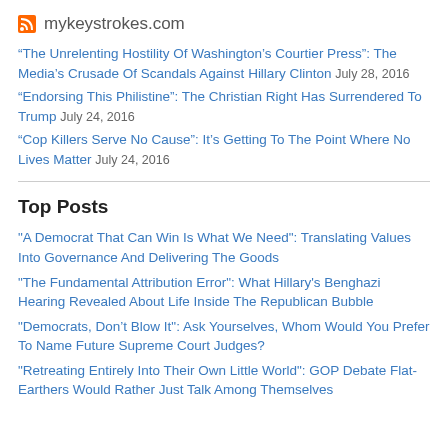mykeystrokes.com
“The Unrelenting Hostility Of Washington’s Courtier Press”: The Media’s Crusade Of Scandals Against Hillary Clinton July 28, 2016
“Endorsing This Philistine”: The Christian Right Has Surrendered To Trump July 24, 2016
“Cop Killers Serve No Cause”: It’s Getting To The Point Where No Lives Matter July 24, 2016
Top Posts
"A Democrat That Can Win Is What We Need": Translating Values Into Governance And Delivering The Goods
"The Fundamental Attribution Error": What Hillary's Benghazi Hearing Revealed About Life Inside The Republican Bubble
"Democrats, Don’t Blow It": Ask Yourselves, Whom Would You Prefer To Name Future Supreme Court Judges?
"Retreating Entirely Into Their Own Little World": GOP Debate Flat-Earthers Would Rather Just Talk Among Themselves